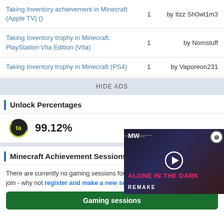| Achievement/Trophy | Count | By |
| --- | --- | --- |
| Taking Inventory achievement in Minecraft (Apple TV) () | 1 | by Itzz Sh0wt1m3 |
| Taking Inventory trophy in Minecraft: PlayStation Vita Edition (Vita) | 1 | by Nomstuff |
| Taking Inventory trophy in Minecraft (PS4) | 1 | by Vaporeon231 |
HIDE ADS
Unlock Percentages
99.12%
Minecraft Achievement Sessions
There are currently no gaming sessions for the achievement that you can join - why not register and make a new session!
[Figure (screenshot): Ad overlay for 'Alone in the Dark Remake' with MW logo, play button, and red text]
Gaming sessions